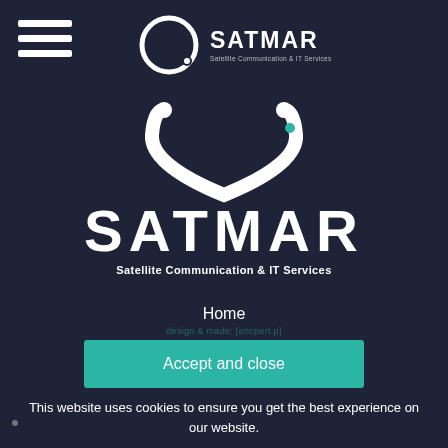[Figure (logo): Hamburger menu icon (three white horizontal lines) in top-left corner]
[Figure (logo): SATMAR small logo in top area: circular satellite dish icon with SATMAR text and 'Satellite Communication & IT Services' subtitle]
[Figure (logo): Large SATMAR logo center: white U-shaped satellite symbol above large bold SATMAR wordmark and 'Satellite Communication & IT Services' subtitle]
Home
About
Offer
News
Contact
Privacy Policy
Terms & Conditions
Accept and close
This website uses cookies to ensure you get the best experience on our website.